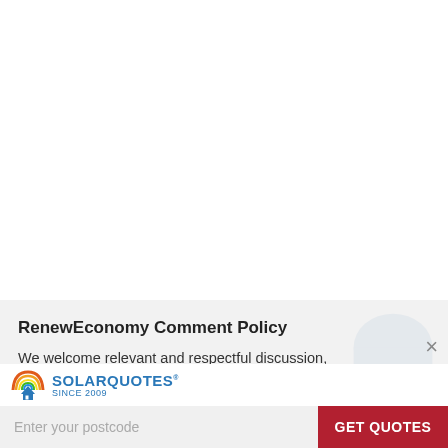RenewEconomy Comment Policy
We welcome relevant and respectful discussion, but rudeness and personal attacks will not be
[Figure (logo): SolarQuotes logo with rainbow arch and house icon, blue text reading SOLARQUOTES SINCE 2009]
Enter your postcode
GET QUOTES